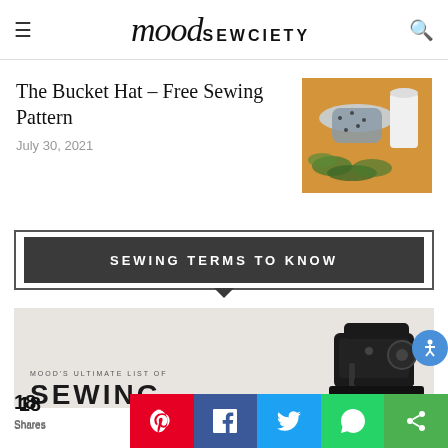mood SEWCIETY
The Bucket Hat – Free Sewing Pattern
July 30, 2021
[Figure (photo): Photo of a bucket hat with polka dot fabric and greenery on orange background]
SEWING TERMS TO KNOW
[Figure (photo): Mood's Ultimate List of Sewing Terms image with vintage sewing machine]
18 Shares
[Figure (infographic): Social share bar with Pinterest, Facebook, Twitter, WhatsApp, and Share buttons]